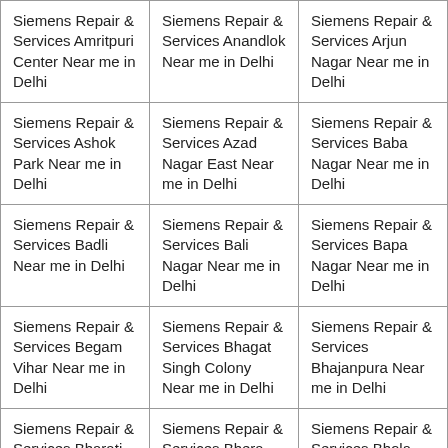| Siemens Repair & Services Amritpuri Center Near me in Delhi | Siemens Repair & Services Anandlok Near me in Delhi | Siemens Repair & Services Arjun Nagar Near me in Delhi |
| Siemens Repair & Services Ashok Park Near me in Delhi | Siemens Repair & Services Azad Nagar East Near me in Delhi | Siemens Repair & Services Baba Nagar Near me in Delhi |
| Siemens Repair & Services Badli Near me in Delhi | Siemens Repair & Services Bali Nagar Near me in Delhi | Siemens Repair & Services Bapa Nagar Near me in Delhi |
| Siemens Repair & Services Begam Vihar Near me in Delhi | Siemens Repair & Services Bhagat Singh Colony Near me in Delhi | Siemens Repair & Services Bhajanpura Near me in Delhi |
| Siemens Repair & Services Bharati Colony Near me in | Siemens Repair & Services Bhera Enclave Near me in | Siemens Repair & Services Bhola Nath Nagar Near |